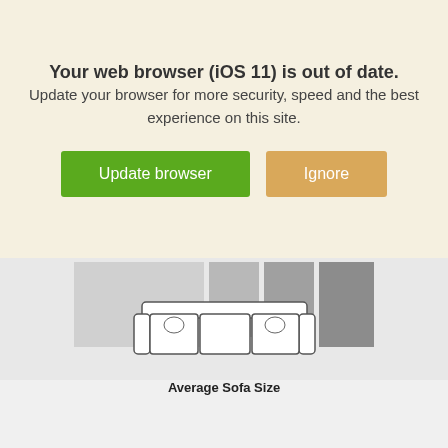Your web browser (iOS 11) is out of date.
Update your browser for more security, speed and the best experience on this site.
[Figure (screenshot): Two buttons: a green 'Update browser' button and a tan/gold 'Ignore' button]
[Figure (illustration): Top-down floor plan diagram showing different room/sofa size comparisons with gray blocks and a sofa illustration labeled 'Average Sofa Size']
Average Sofa Size